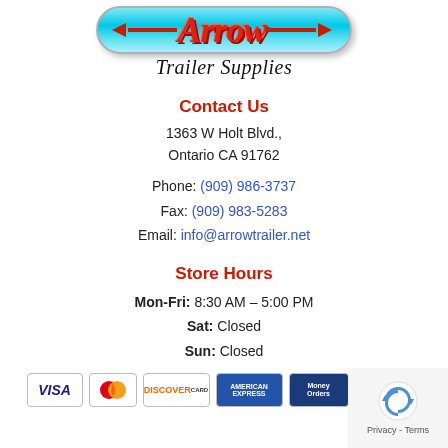[Figure (logo): Arrow Trailer Supplies logo — pill-shaped cyan/blue gradient badge with red italic 'Arrow' text and red arrow line, with 'Trailer Supplies' in black italic script below]
Contact Us
1363 W Holt Blvd.,
Ontario CA 91762
Phone: (909) 986-3737
Fax: (909) 983-5283
Email: info@arrowtrailer.net
Store Hours
Mon-Fri: 8:30 AM – 5:00 PM
Sat: Closed
Sun: Closed
[Figure (logo): Payment method logos: Visa, MasterCard, Discover, American Express, Money Orders, Traveler's Cheques]
[Figure (other): reCAPTCHA badge with Privacy - Terms text]